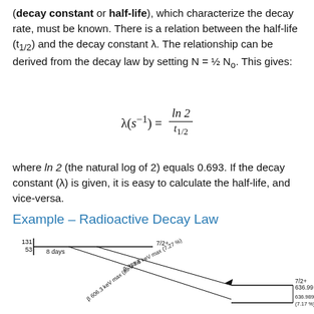(decay constant or half-life), which characterize the decay rate, must be known. There is a relation between the half-life (t₁/₂) and the decay constant λ. The relationship can be derived from the decay law by setting N = ½ N₀. This gives:
where In 2 (the natural log of 2) equals 0.693. If the decay constant (λ) is given, it is easy to calculate the half-life, and vice-versa.
Example – Radioactive Decay Law
[Figure (engineering-diagram): Nuclear decay scheme for I-131 (131/53, 8 days half-life). Shows energy level diagram with 7/2+ state at top, beta decay arrows: β 333.8 keV max (7.27%) and β 606.3 keV max (89.9%), leading to 7/2+ level at 636.99 keV with 636.989 keV gamma (7.17%).]